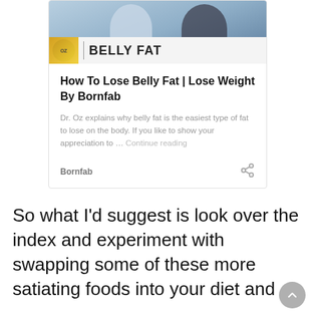[Figure (screenshot): Card preview with image showing two people on a TV set with 'OZ | BELLY FAT' banner overlay]
How To Lose Belly Fat | Lose Weight By Bornfab
Dr. Oz explains why belly fat is the easiest type of fat to lose on the body. If you like to show your appreciation to … Continue reading
Bornfab
So what I'd suggest is look over the index and experiment with swapping some of these more satiating foods into your diet and